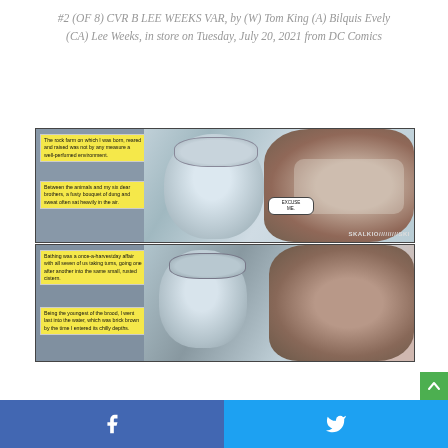#2 (OF 8) CVR B LEE WEEKS VAR, by (W) Tom King (A) Bilquis Evely (CA) Lee Weeks, in store on Tuesday, July 20, 2021 from DC Comics
[Figure (illustration): Comic book panels showing a female character with goggles and a creature with large teeth. Panel 1 has yellow caption boxes reading about the rock farm, animals, and brothers, and a speech bubble saying 'EXCUSE ME.' with sound effect 'SKALKIO/////////SKI'. Panel 2 shows bathing described in caption boxes.]
Facebook share button | Twitter share button